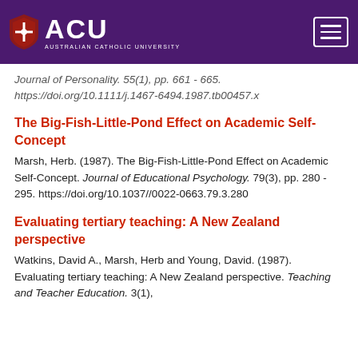ACU - Australian Catholic University
Journal of Personality. 55(1), pp. 661 - 665. https://doi.org/10.1111/j.1467-6494.1987.tb00457.x
The Big-Fish-Little-Pond Effect on Academic Self-Concept
Marsh, Herb. (1987). The Big-Fish-Little-Pond Effect on Academic Self-Concept. Journal of Educational Psychology. 79(3), pp. 280 - 295. https://doi.org/10.1037//0022-0663.79.3.280
Evaluating tertiary teaching: A New Zealand perspective
Watkins, David A., Marsh, Herb and Young, David. (1987). Evaluating tertiary teaching: A New Zealand perspective. Teaching and Teacher Education. 3(1),